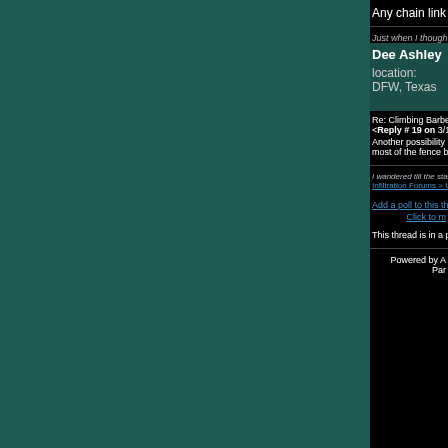Any chain link and/or barbed/razor wire fence can shred y
Just when I thought I was out... they pulled me back in.
Dee Ashley
location: DFW, Texas
Re: Climbing Barbed Wire Fences
<Reply # 19 on 3/1/2019 9:14 PM >
Another possibility is to look for trees or something similar most of the fence by simply using the tree or whatever to b
I wandered till the stars went dim.
Infiltration Forums > UE Tutorials, Lessons, and Useful In
Add a poll to this thread
Click to m
This thread is in a public category, and can't be made priv
Powered by A
Par